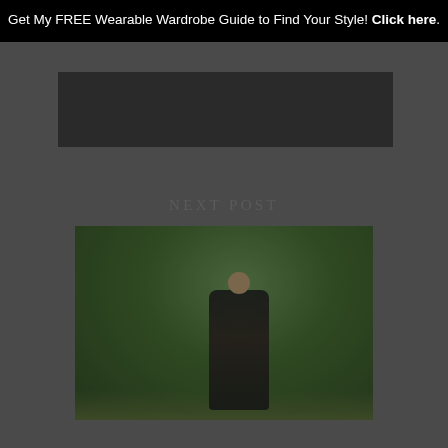Get My FREE Wearable Wardrobe Guide to Find Your Style! Click here.
NEXT POST
[Figure (photo): A person in a dark dress standing outdoors near green garden hedges/bushes]